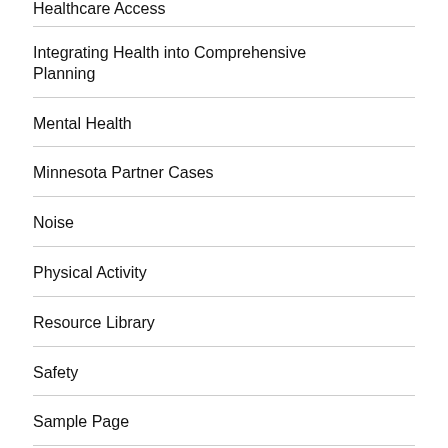Healthcare Access
Integrating Health into Comprehensive Planning
Mental Health
Minnesota Partner Cases
Noise
Physical Activity
Resource Library
Safety
Sample Page